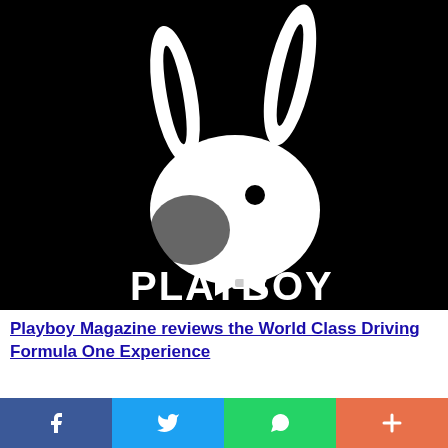[Figure (logo): Playboy bunny logo on black background with white bunny silhouette wearing a bow tie and the word PLAYBOY in white letters below]
Playboy Magazine reviews the World Class Driving Formula One Experience
[Figure (infographic): Social media share bar with four buttons: Facebook (dark blue), Twitter (light blue), WhatsApp (green), and More/Plus (coral red)]